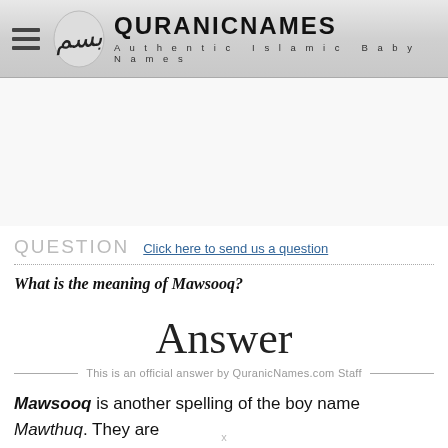QURANICNAMES — Authentic Islamic Baby Names
[Figure (logo): QuranicNames.com logo with Arabic calligraphy and site name]
QUESTION — Click here to send us a question
What is the meaning of Mawsooq?
Answer
This is an official answer by QuranicNames.com Staff
Mawsooq is another spelling of the boy name Mawthuq. They are